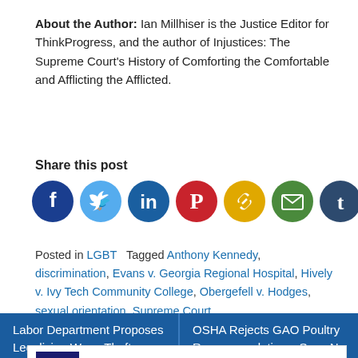About the Author: Ian Millhiser is the Justice Editor for ThinkProgress, and the author of Injustices: The Supreme Court's History of Comforting the Comfortable and Afflicting the Afflicted.
Share this post
[Figure (other): Row of social media sharing icons: Facebook (dark blue), Twitter (light blue), LinkedIn (dark blue), Pinterest (red), Copy link (gold), Email (green), Tumblr (dark blue/teal), Share (orange)]
Posted in LGBT   Tagged Anthony Kennedy, discrimination, Evans v. Georgia Regional Hospital, Hively v. Ivy Tech Community College, Obergefell v. Hodges, sexual orientation, Supreme Court
Labor Department Proposes Legalizing Wage Theft
OSHA Rejects GAO Poultry Recommendations: Sees No Problem With Workers'
[Figure (other): Petco advertisement showing Sterling store location, OPEN 9AM-8PM, 22000 Dulles Retail Plaza, #110, S...]